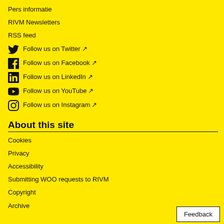Pers informatie
RIVM Newsletters
RSS feed
Follow us on Twitter ↗
Follow us on Facebook ↗
Follow us on LinkedIn ↗
Follow us on YouTube ↗
Follow us on Instagram ↗
About this site
Cookies
Privacy
Accessibility
Submitting WOO requests to RIVM
Copyright
Archive